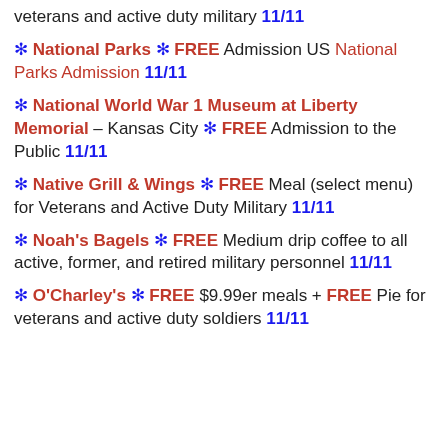veterans and active duty military 11/11
National Parks FREE Admission US National Parks Admission 11/11
National World War 1 Museum at Liberty Memorial – Kansas City FREE Admission to the Public 11/11
Native Grill & Wings FREE Meal (select menu) for Veterans and Active Duty Military 11/11
Noah's Bagels FREE Medium drip coffee to all active, former, and retired military personnel 11/11
O'Charley's FREE $9.99er meals + FREE Pie for veterans and active duty soldiers 11/11